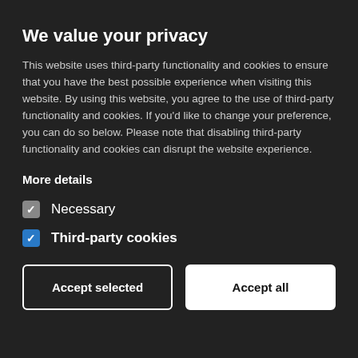We value your privacy
This website uses third-party functionality and cookies to ensure that you have the best possible experience when visiting this website. By using this website, you agree to the use of third-party functionality and cookies. If you'd like to change your preference, you can do so below. Please note that disabling third-party functionality and cookies can disrupt the website experience.
More details
Necessary (checkbox, unchecked)
Third-party cookies (checkbox, checked)
Accept selected | Accept all